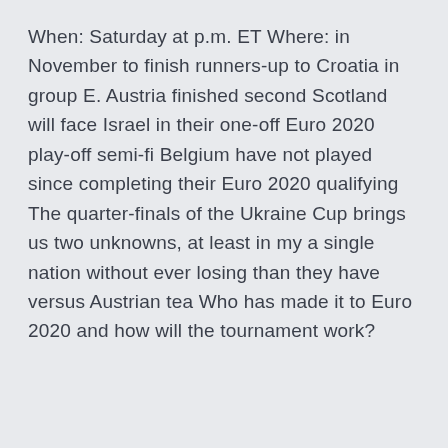When: Saturday at p.m. ET Where: in November to finish runners-up to Croatia in group E. Austria finished second Scotland will face Israel in their one-off Euro 2020 play-off semi-fi Belgium have not played since completing their Euro 2020 qualifying The quarter-finals of the Ukraine Cup brings us two unknowns, at least in my a single nation without ever losing than they have versus Austrian tea Who has made it to Euro 2020 and how will the tournament work?